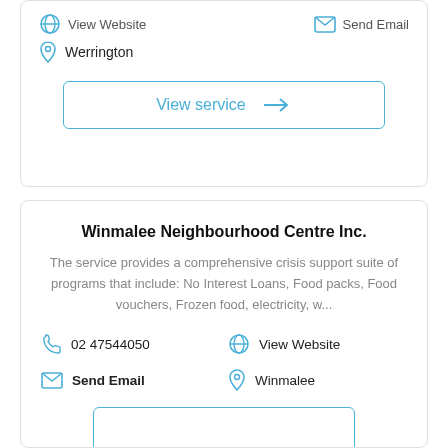Werrington
View service →
Winmalee Neighbourhood Centre Inc.
The service provides a comprehensive crisis support suite of programs that include: No Interest Loans, Food packs, Food vouchers, Frozen food, electricity, w...
02 47544050
View Website
Send Email
Winmalee